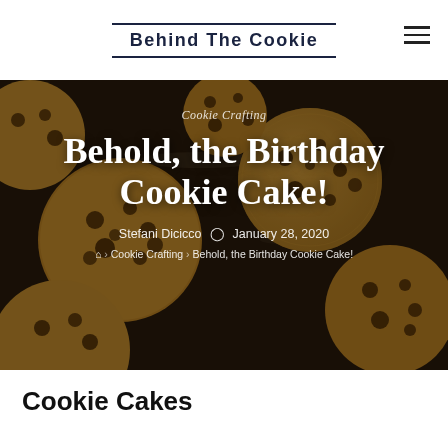Behind The Cookie
[Figure (photo): Dark baking tray covered with chocolate chip cookies on a dark background, used as hero image background for a blog post.]
Cookie Crafting
Behold, the Birthday Cookie Cake!
Stefani Dicicco  January 28, 2020
Home › Cookie Crafting › Behold, the Birthday Cookie Cake!
Cookie Cakes